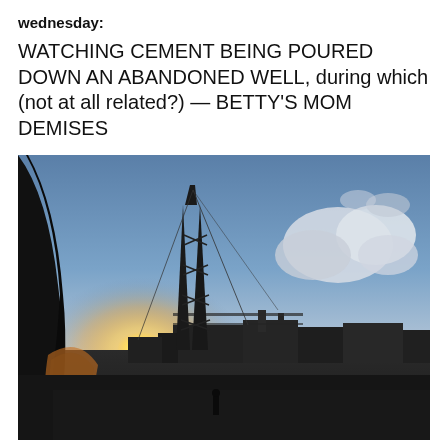wednesday:
WATCHING CEMENT BEING POURED DOWN AN ABANDONED WELL, during which (not at all related?) — BETTY'S MOM DEMISES
[Figure (photo): Outdoor industrial oil well / drilling rig site at dusk, photographed from inside a vehicle. A tall derrick/tower structure is silhouetted against a bright setting sun and blue sky with clouds. Dark industrial buildings and equipment are visible across the middle ground. The left foreground shows the dark edge of a car window/mirror. The ground is dark and the overall image is low-light with warm backlighting.]